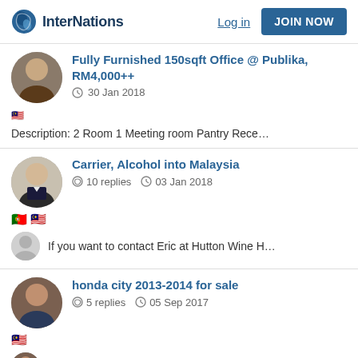InterNations — Log in | JOIN NOW
Fully Furnished 150sqft Office @ Publika, RM4,000++
30 Jan 2018
Description: 2 Room 1 Meeting room Pantry Rece...
Carrier, Alcohol into Malaysia
10 replies  03 Jan 2018
If you want to contact Eric at Hutton Wine H...
honda city 2013-2014 for sale
5 replies  05 Sep 2017
Hi guys! There is a Honda city for sale. Som...